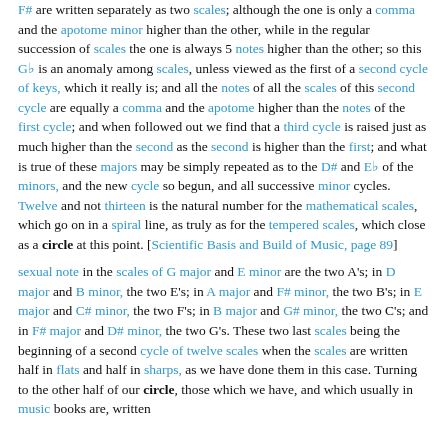F# are written separately as two scales; although the one is only a comma and the apotome minor higher than the other, while in the regular succession of scales the one is always 5 notes higher than the other; so this G♭ is an anomaly among scales, unless viewed as the first of a second cycle of keys, which it really is; and all the notes of all the scales of this second cycle are equally a comma and the apotome higher than the notes of the first cycle; and when followed out we find that a third cycle is raised just as much higher than the second as the second is higher than the first; and what is true of these majors may be simply repeated as to the D# and E♭ of the minors, and the new cycle so begun, and all successive minor cycles. Twelve and not thirteen is the natural number for the mathematical scales, which go on in a spiral line, as truly as for the tempered scales, which close as a circle at this point. [Scientific Basis and Build of Music, page 89]
sexual note in the scales of G major and E minor are the two A's; in D major and B minor, the two E's; in A major and F# minor, the two B's; in E major and C# minor, the two F's; in B major and G# minor, the two C's; and in F# major and D# minor, the two G's. These two last scales being the beginning of a second cycle of twelve scales when the scales are written half in flats and half in sharps, as we have done them in this case. Turning to the other half of our circle, those which we have, and which usually in music books are, written